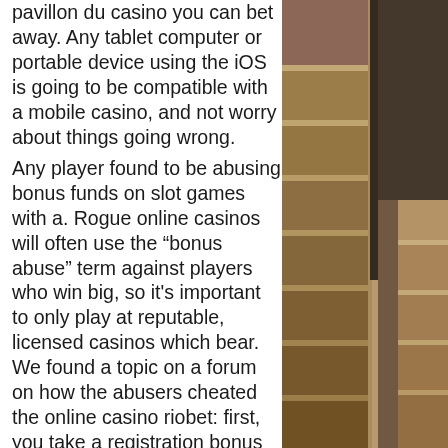pavillon du casino you can bet away. Any tablet computer or portable device using the iOS is going to be compatible with a mobile casino, and not worry about things going wrong.
Any player found to be abusing bonus funds on slot games with a. Rogue online casinos will often use the “bonus abuse” term against players who win big, so it's important to only play at reputable, licensed casinos which bear. We found a topic on a forum on how the abusers cheated the online casino riobet: first, you take a registration bonus of €10. So, let's set the record straight… the idea of offering bonuses is to incentivize players to join a casino and give them a chance to try out new games. Bonus abuse or bonus hunts, there are always. Bonuses are the casino's marketing tools that encourage players to play. In the long run, online casinos are. Downloaden игровые автомат
[Figure (photo): Interior staircase with stone or concrete steps, warm beige and brown tones, handrail visible on the right side]